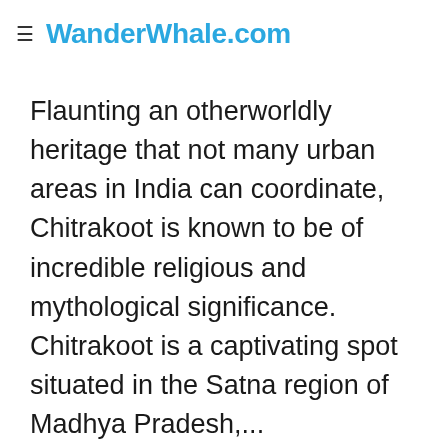≡ WanderWhale.com
Flaunting an otherworldly heritage that not many urban areas in India can coordinate, Chitrakoot is known to be of incredible religious and mythological significance. Chitrakoot is a captivating spot situated in the Satna region of Madhya Pradesh,...
Weather: 28°c - 35°c
Read More   Things to Do at ...